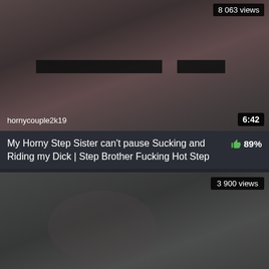[Figure (screenshot): Video thumbnail showing a blurred scene, with username 'hornycouple2k19' at bottom left, duration '6:42' at bottom right, and '8 063 views' badge at top right]
My Horny Step Sister can't pause Sucking and Riding my Dick | Step Brother Fucking Hot Step
89%
[Figure (screenshot): Second video thumbnail, blurred, with '3 900 views' badge at top right]